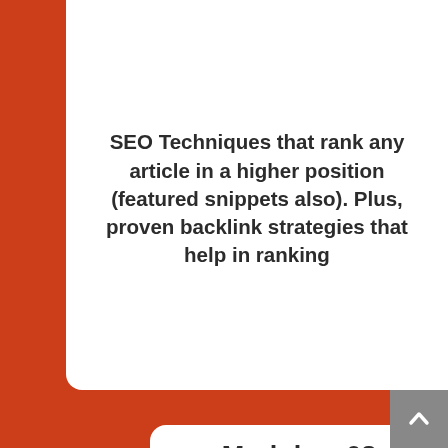SEO Techniques that rank any article in a higher position (featured snippets also). Plus, proven backlink strategies that help in ranking
Module – 08
Traffic Secret Formula
I will show some case studies of my blogs which drive thousands of unique visitors in just a single